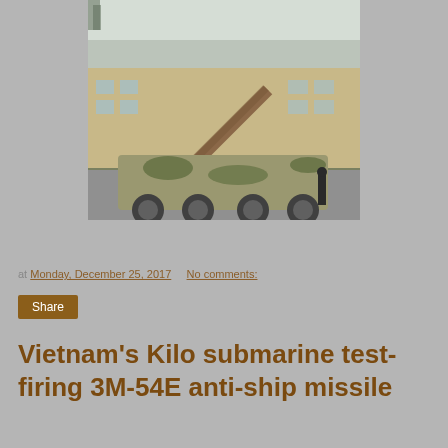[Figure (photo): Military vehicle (wheeled launcher) with a missile or rocket arm raised at an angle, parked in a snowy/industrial area near a building. Camouflage paint scheme.]
at Monday, December 25, 2017   No comments:
Share
Vietnam's Kilo submarine test-firing 3M-54E anti-ship missile